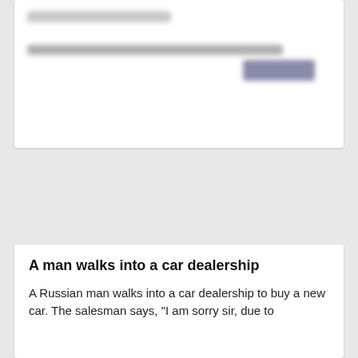[Figure (screenshot): Blurred/redacted UI card at the top of the page showing obscured text lines and a button]
A man walks into a car dealership
A Russian man walks into a car dealership to buy a new car. The salesman says, "I am sorry sir, due to